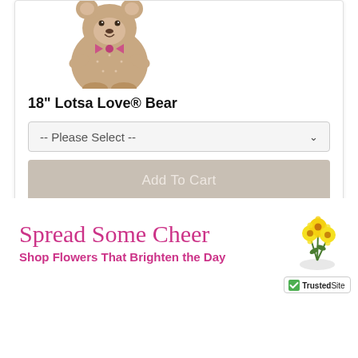[Figure (photo): Teddy bear (18 inch Lotsa Love Bear) with a pink bow, photographed on white background]
18" Lotsa Love® Bear
[Figure (screenshot): Dropdown select box with label '-- Please Select --' and chevron arrow]
[Figure (screenshot): Gray 'Add To Cart' button]
[Figure (logo): TrustedSite Certified Secure badge with green checkmark]
Spread Some Cheer
Shop Flowers That Brighten the Day
[Figure (photo): Yellow flowers bouquet]
[Figure (logo): TrustedSite badge (partial, bottom right)]